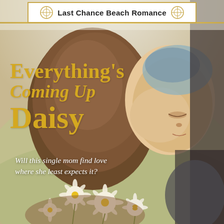Last Chance Beach Romance
[Figure (photo): A woman with long brown hair and a young blonde girl hugging her cheek, surrounded by daisy flowers in a field. Warm, soft-focus outdoor photo used as book cover background.]
Everything's Coming Up Daisy
Will this single mom find love where she least expects it?